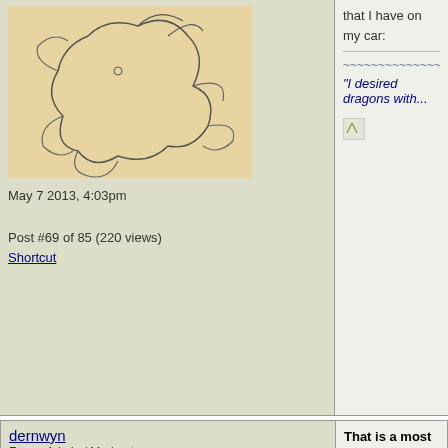that I have on my car:
~~~~~~~~~~~~~~~~~~~~~~~~~~~
"I desired dragons with...
May 7 2013, 4:03pm
Post #69 of 85 (220 views)
Shortcut
dernwyn
Forum Admin / Moderator
That is a most appro...
for Cherry Garcia! Yum...
~~~~~~~~~~~~~~~~~~~~~~~~~~~
"I desired dragons with...
May 7 2013, 4:11pm
Post #70 of 85 (237 views)
Shortcut
grammaboodawg
Immortal
I think we should bla...